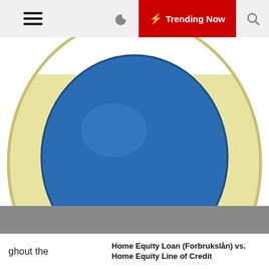☰ 🌙 ⚡ Trending Now 🔍
[Figure (photo): Egg chair with yellow/cream outer shell and blue inner seat, on a round base, viewed from above against white background]
🕐 2 years ago
Egg chairs popular among midcentury modern designers
[Figure (photo): Gray advertisement/image placeholder]
ghout the
Home Equity Loan (Forbrukslån) vs. Home Equity Line of Credit